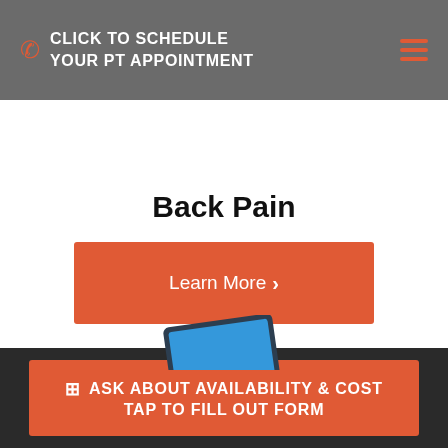CLICK TO SCHEDULE YOUR PT APPOINTMENT
Back Pain
Learn More >
[Figure (illustration): Partial view of a tablet device peeking up from the bottom of the white content area]
ASK ABOUT AVAILABILITY & COST TAP TO FILL OUT FORM